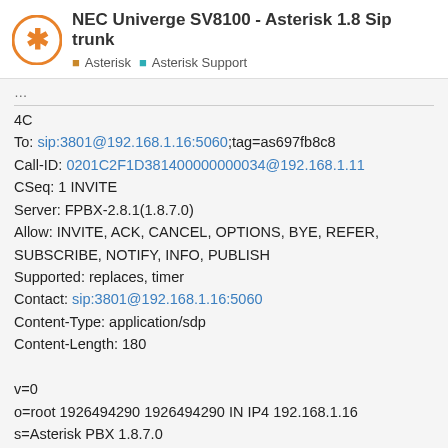NEC Univerge SV8100 - Asterisk 1.8 Sip trunk | Asterisk | Asterisk Support
4C
To: sip:3801@192.168.1.16:5060;tag=as697fb8c8
Call-ID: 0201C2F1D381400000000034@192.168.1.11
CSeq: 1 INVITE
Server: FPBX-2.8.1(1.8.7.0)
Allow: INVITE, ACK, CANCEL, OPTIONS, BYE, REFER, SUBSCRIBE, NOTIFY, INFO, PUBLISH
Supported: replaces, timer
Contact: sip:3801@192.168.1.16:5060
Content-Type: application/sdp
Content-Length: 180

v=0
o=root 1926494290 1926494290 IN IP4 192.168.1.16
s=Asterisk PBX 1.8.7.0
c=IN IP4 192.168.1.16
t=0 0
m=audio 18844 RTP/AVP 8
a=rtpmap:8 PCMA/8000